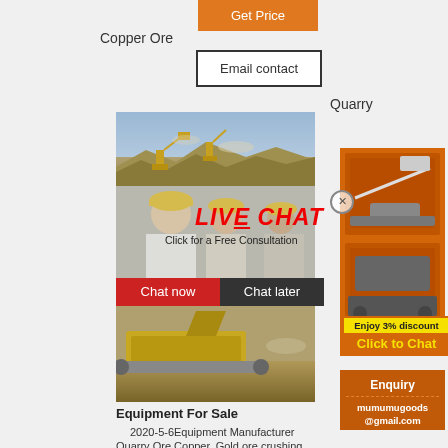Get Price
Copper Ore
Email contact
Quarry
[Figure (photo): Quarry excavation site with machinery and excavators]
[Figure (photo): Workers in hard hats with live chat overlay showing LIVE CHAT / Click for a Free Consultation]
LIVE CHAT
Click for a Free Consultation
Chat now
Chat later
[Figure (photo): Crushing/screening equipment on-site]
[Figure (photo): Right sidebar: Crushing equipment images on orange background]
Enjoy 3% discount
Click to Chat
Enquiry
mumumugoods@gmail.com
Equipment For Sale
2020-5-6Equipment Manufacturer
Quarry Ore Copper. Gold ore crushing